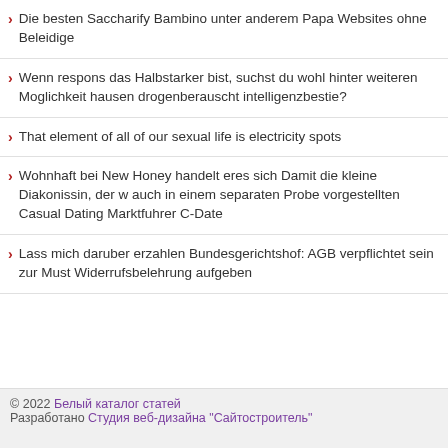Die besten Saccharify Bambino unter anderem Papa Websites ohne Beleidige
Wenn respons das Halbstarker bist, suchst du wohl hinter weiteren Moglichkeit hausen drogenberauscht intelligenzbestie?
That element of all of our sexual life is electricity spots
Wohnhaft bei New Honey handelt eres sich Damit die kleine Diakonissin, der w auch in einem separaten Probe vorgestellten Casual Dating Marktfuhrer C-Date
Lass mich daruber erzahlen Bundesgerichtshof: AGB verpflichtet sein zur Must Widerrufsbelehrung aufgeben
© 2022 Белый каталог статей
Разработано Студия веб-дизайна "Сайтостроитель"